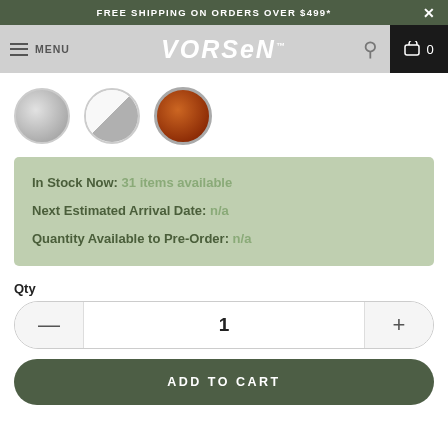FREE SHIPPING ON ORDERS OVER $499*
[Figure (screenshot): Navigation bar with hamburger menu, VORSEN logo, search icon, and cart showing 0 items]
[Figure (illustration): Three circular color swatches: grey, white/silver diagonal, and rust/brown]
In Stock Now: 31 items available
Next Estimated Arrival Date: n/a
Quantity Available to Pre-Order: n/a
Qty
1
ADD TO CART